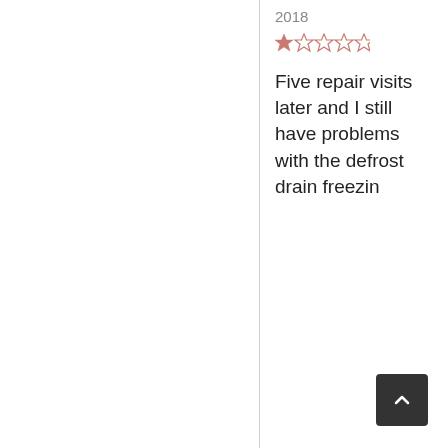2018
[Figure (other): Star rating: 1 out of 5 stars (one filled pink/red star, four empty outline stars)]
Five repair visits later and I still have problems with the defrost drain freezin